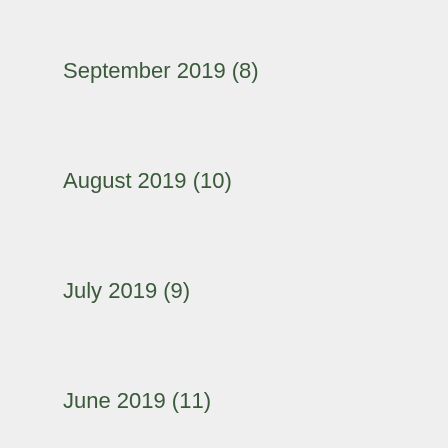September 2019 (8)
August 2019 (10)
July 2019 (9)
June 2019 (11)
May 2019 (12)
April 2019 (9)
March 2019 (1)
February 2019 (8)
January 2019 (8)
December 2018 (7)